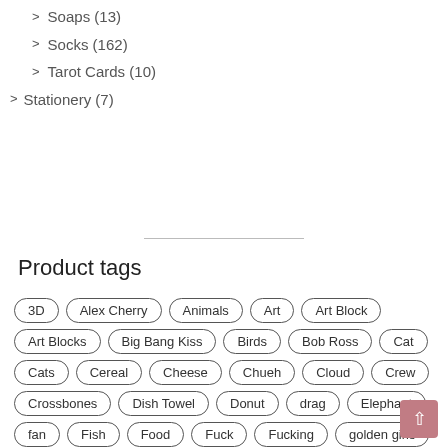> Soaps (13)
> Socks (162)
> Tarot Cards (10)
> Stationery (7)
Product tags
3D, Alex Cherry, Animals, Art, Art Block, Art Blocks, Big Bang Kiss, Birds, Bob Ross, Cat, Cats, Cereal, Cheese, Chueh, Cloud, Crew, Crossbones, Dish Towel, Donut, drag, Elephant, fan, Fish, Food, Fuck, Fucking, golden girls